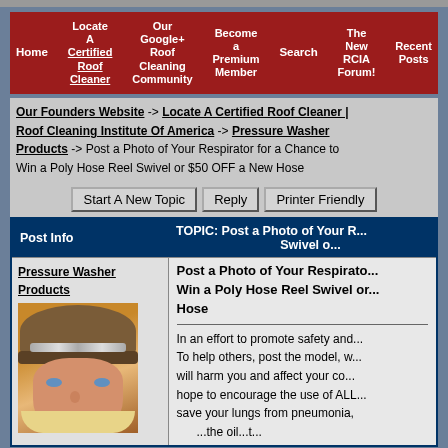[Figure (screenshot): Navigation menu bar with red background containing links: Home, Locate A Certified Roof Cleaner, Our Google+ Roof Cleaning Community, Become a Premium Member, Search, The New RCIA Forum!, Recent Posts]
Our Founders Website -> Locate A Certified Roof Cleaner | Roof Cleaning Institute Of America -> Pressure Washer Products -> Post a Photo of Your Respirator for a Chance to Win a Poly Hose Reel Swivel or $50 OFF a New Hose
Start A New Topic | Reply | Printer Friendly
| Post Info | TOPIC: Post a Photo of Your R... Swivel o... |
| --- | --- |
| Pressure Washer Products [avatar photo] | Post a Photo of Your Respirator... Win a Poly Hose Reel Swivel or... Hose

In an effort to promote safety and... To help others, post the model, w... will harm you and affect your co... hope to encourage the use of ALL... save your lungs from pneumonia, |
TOPIC: Post a Photo of Your Respirator for a Chance to Win a Poly Hose Reel Swivel or $50 OFF a New Hose
Post a Photo of Your Respirator for a Chance to Win a Poly Hose Reel Swivel or $50 OFF a New Hose
In an effort to promote safety and... To help others, post the model, w... will harm you and affect your co... hope to encourage the use of ALL... save your lungs from pneumonia,